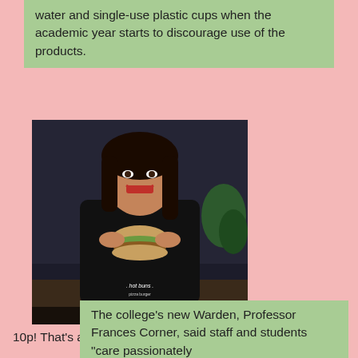water and single-use plastic cups when the academic year starts to discourage use of the products.
[Figure (photo): A smiling woman in a black tank top with 'hot buns' logo, holding a burger. Caption reads: STEPHANIE WITH "MEXICAN"]
10p! That's absurd. That's 14 cents!
The college's new Warden, Professor Frances Corner, said staff and students "care passionately